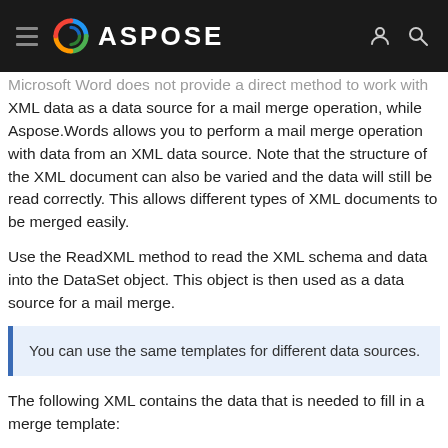ASPOSE
Microsoft Word does not provide a direct method to work with XML data as a data source for a mail merge operation, while Aspose.Words allows you to perform a mail merge operation with data from an XML data source. Note that the structure of the XML document can also be varied and the data will still be read correctly. This allows different types of XML documents to be merged easily.
Use the ReadXML method to read the XML schema and data into the DataSet object. This object is then used as a data source for a mail merge.
You can use the same templates for different data sources.
The following XML contains the data that is needed to fill in a merge template: